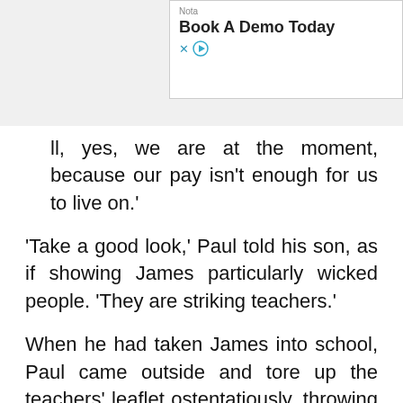[Figure (screenshot): Advertisement banner: 'Nota' label, 'Book A Demo Today' title, with close (X) and play button controls]
ll, yes, we are at the moment, because our pay isn't enough for us to live on.'
'Take a good look,' Paul told his son, as if showing James particularly wicked people. 'They are striking teachers.'
When he had taken James into school, Paul came outside and tore up the teachers' leaflet ostentatiously, throwing the pieces in the road. 'I just thought, You sod! If Lennon had been there, he would have been on the picket line with us!' says Moses, who described the incident in a